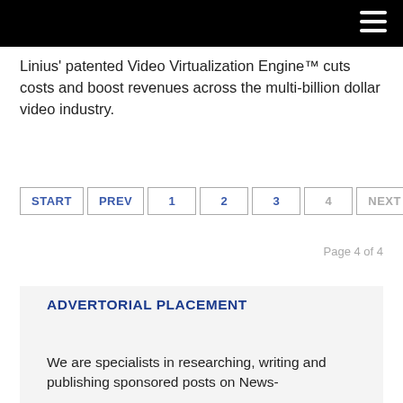Linius' patented Video Virtualization Engine™ cuts costs and boost revenues across the multi-billion dollar video industry.
START  PREV  1  2  3  4  NEXT  END
Page 4 of 4
ADVERTORIAL PLACEMENT
We are specialists in researching, writing and publishing sponsored posts on News-